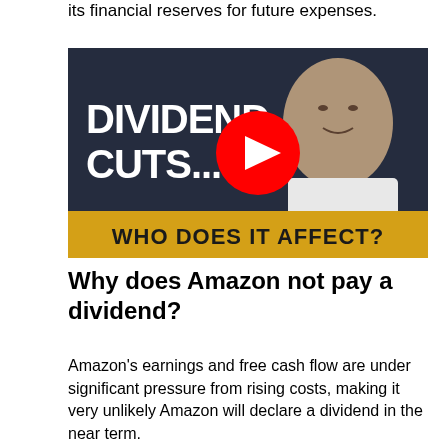its financial reserves for future expenses.
[Figure (screenshot): YouTube video thumbnail with dark navy background. Large bold white text reads 'DIVIDEND CUTS...' on the left. A red YouTube play button is centered. A man in a white shirt is visible on the right side. A yellow banner at the bottom reads 'WHO DOES IT AFFECT?' in bold black text.]
Why does Amazon not pay a dividend?
Amazon's earnings and free cash flow are under significant pressure from rising costs, making it very unlikely Amazon will declare a dividend in the near term.